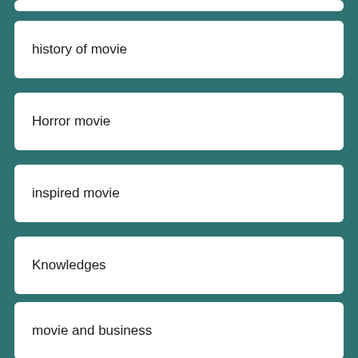history of movie
Horror movie
inspired movie
Knowledges
movie and business
Movies
oscar movie